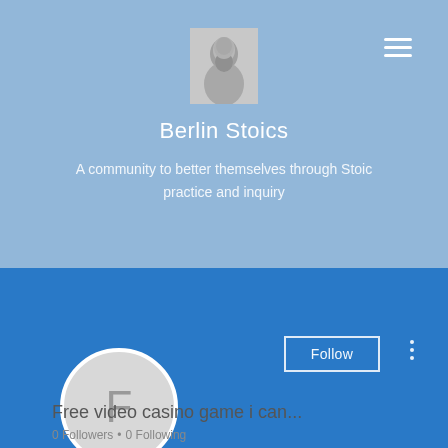[Figure (screenshot): Light blue community group header banner for 'Berlin Stoics' with a bust image of an ancient philosopher, hamburger menu icon, group title, and description text]
Berlin Stoics
A community to better themselves through Stoic practice and inquiry
[Figure (screenshot): Blue action bar with Follow button (outlined) and three-dot menu icon]
[Figure (illustration): Circular avatar with letter F on grey background]
Free video casino game i can...
0 Followers • 0 Following